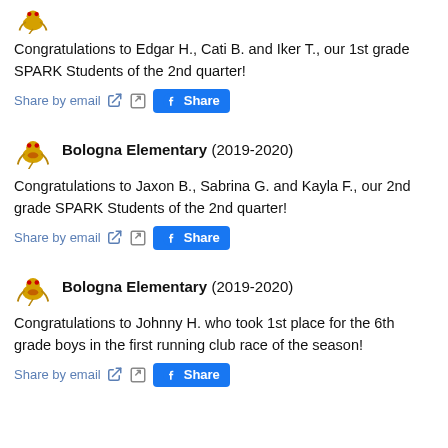Congratulations to Edgar H., Cati B. and Iker T.,our 1st grade SPARK Students of the 2nd quarter!
[Figure (other): Share by email icon, external link icon, and Facebook Share button]
[Figure (logo): Bologna Elementary school mascot logo]
Bologna Elementary (2019-2020)
Congratulations to Jaxon B., Sabrina G. and Kayla F., our 2nd grade SPARK Students of the 2nd quarter!
[Figure (other): Share by email icon, external link icon, and Facebook Share button]
[Figure (logo): Bologna Elementary school mascot logo]
Bologna Elementary (2019-2020)
Congratulations to Johnny H. who took 1st place for the 6th grade boys in the first running club race of the season!
[Figure (other): Share by email icon, external link icon, and Facebook Share button]